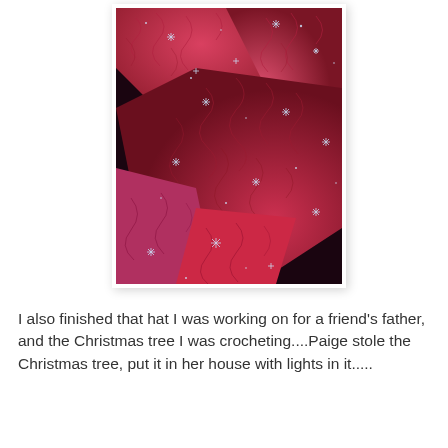[Figure (photo): Close-up photo of red quilted fabric pieces with embossed swirling patterns and small white sparkle/star embellishments scattered across the surface, arranged in overlapping triangular sections with a dark background visible between them.]
I also finished that hat I was working on for a friend's father, and the Christmas tree I was crocheting....Paige stole the Christmas tree, put it in her house with lights in it.....